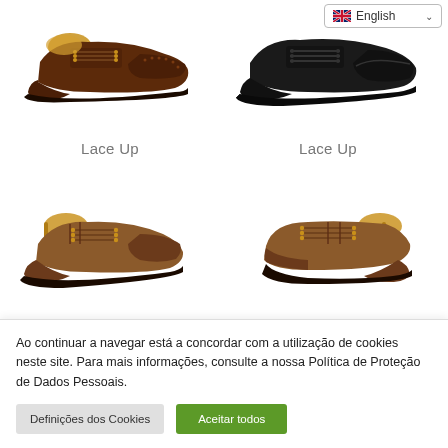[Figure (screenshot): Language selector dropdown showing English with UK flag]
[Figure (photo): Brown leather Oxford lace-up dress shoe with brogue detailing, side profile view]
[Figure (photo): Black leather Oxford cap-toe lace-up dress shoe, side profile view]
Lace Up
Lace Up
[Figure (photo): Tan/brown leather Derby lace-up dress shoe with shoe tree, side profile view]
[Figure (photo): Tan/brown leather Derby lace-up dress shoe with shoe tree, side profile view]
Ao continuar a navegar está a concordar com a utilização de cookies neste site. Para mais informações, consulte a nossa Política de Proteção de Dados Pessoais.
Definições dos Cookies
Aceitar todos